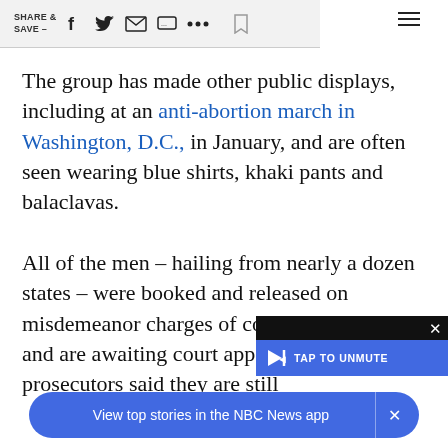SHARE & SAVE — [social icons]
The group has made other public displays, including at an anti-abortion march in Washington, D.C., in January, and are often seen wearing blue shirts, khaki pants and balaclavas.
All of the men – hailing from nearly a dozen states – were booked and released on misdemeanor charges of conspiracy to riot and are awaiting court appearances. Coe[...] prosecutors said they are still
[Figure (screenshot): Video overlay with TAP TO UNMUTE button and close X]
[Figure (screenshot): NBC News app banner: View top stories in the NBC News app]